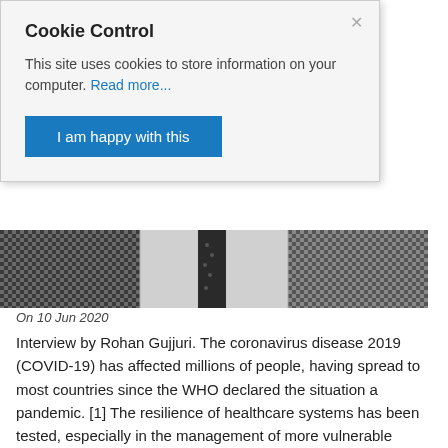Cookie Control
This site uses cookies to store information on your computer. Read more...
I am happy with this
[Figure (photo): Close-up photo of men in suits and ties, showing torsos with checkered jackets]
On 10 Jun 2020
Interview by Rohan Gujjuri. The coronavirus disease 2019 (COVID-19) has affected millions of people, having spread to most countries since the WHO declared the situation a pandemic. [1] The resilience of healthcare systems has been tested, especially in the management of more vulnerable groups of patients, such as those undergoing surgery. In this interview, Gianluca Pellino, a colorectal surgeon from the Vall d'Hebron University Hospital in Barcelona (Spain) provides a brief summary of the efforts and findings on behalf of the CovidSurg collaborative.